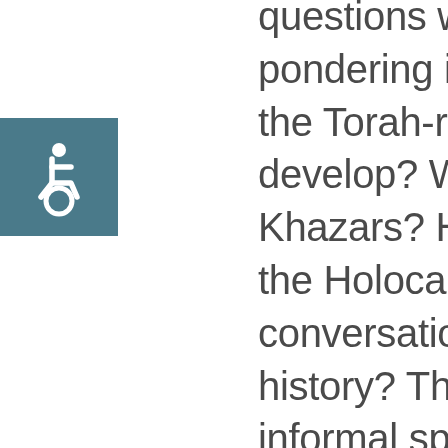[Figure (illustration): Wheelchair accessibility icon — white wheelchair symbol on a teal/slate blue square background]
questions we've been pondering include: How did the Torah-reading cycle develop? Who are the Khazars? How do we place the Holocaust into broader conversations about Jewish history? This is an open, informal space for you to find answers and resources to your own questions, always evolving based on who joins the conversation. Previous knowledge of Jewish texts is not necessary and any shared texts will be provided in